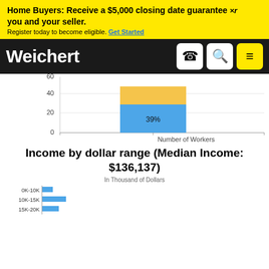Home Buyers: Receive a $5,000 closing date guarantee Xr you and your seller. Register today to become eligible. Get Started
[Figure (logo): Weichert logo with navigation icons (phone, search, menu)]
[Figure (stacked-bar-chart): Number of Workers]
Income by dollar range (Median Income: $136,137)
In Thousand of Dollars
[Figure (bar-chart): Horizontal bar chart showing income distribution by dollar range, partially visible. Bars for 0K-10K, 10K-15K, 15K-20K visible at bottom of page.]